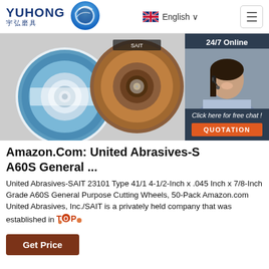YUHONG 宇弘磨具 | English
[Figure (photo): Product photo showing two abrasive cutting discs side by side on a light background, with a 24/7 Online chat panel featuring a customer service representative on the right side, plus a QUOTATION button and 'Click here for free chat!' text.]
Amazon.Com: United Abrasives-S A60S General ...
United Abrasives-SAIT 23101 Type 41/1 4-1/2-Inch x .045 Inch x 7/8-Inch Grade A60S General Purpose Cutting Wheels, 50-Pack Amazon.com United Abrasives, Inc./SAIT is a privately held company that was established in1...
[Figure (logo): TOP watermark logo in orange/red with graphic elements]
Get Price